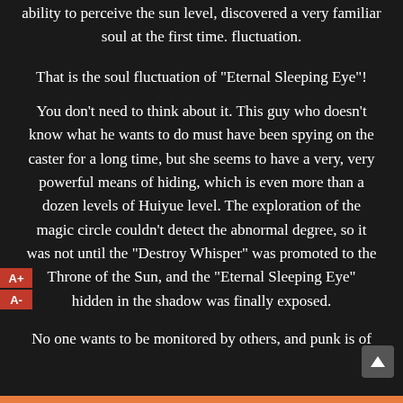ability to perceive the sun level, discovered a very familiar soul at the first time. fluctuation.
That is the soul fluctuation of "Eternal Sleeping Eye"!
You don't need to think about it. This guy who doesn't know what he wants to do must have been spying on the caster for a long time, but she seems to have a very, very powerful means of hiding, which is even more than a dozen levels of Huiyue level. The exploration of the magic circle couldn't detect the abnormal degree, so it was not until the "Destroy Whisper" was promoted to the Throne of the Sun, and the "Eternal Sleeping Eye" hidden in the shadow was finally exposed.
No one wants to be monitored by others, and punk is of